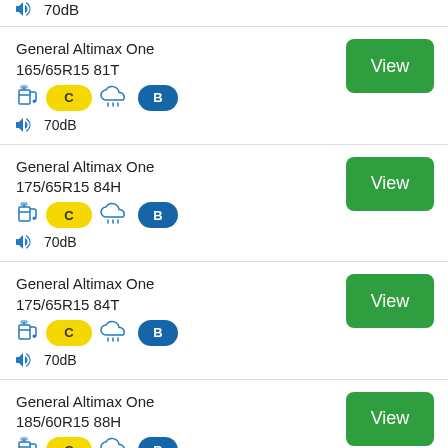70dB (partial top)
General Altimax One 165/65R15 81T — C, B, 70dB — View
General Altimax One 175/65R15 84H — C, B, 70dB — View
General Altimax One 175/65R15 84T — C, B, 70dB — View
General Altimax One 185/60R15 88H — C, B — View